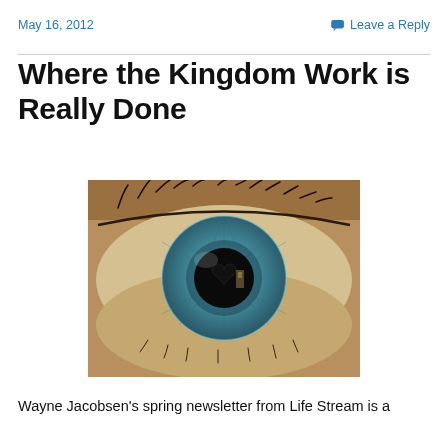May 16, 2012
Leave a Reply
Where the Kingdom Work is Really Done
[Figure (photo): Close-up photograph of a blue human eye with a heart-shaped reflection in the pupil, with eyelashes visible and warm skin tones surrounding the iris.]
Wayne Jacobsen's spring newsletter from Life Stream is a